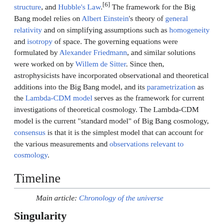structure, and Hubble's Law.[6] The framework for the Big Bang model relies on Albert Einstein's theory of general relativity and on simplifying assumptions such as homogeneity and isotropy of space. The governing equations were formulated by Alexander Friedmann, and similar solutions were worked on by Willem de Sitter. Since then, astrophysicists have incorporated observational and theoretical additions into the Big Bang model, and its parametrization as the Lambda-CDM model serves as the framework for current investigations of theoretical cosmology. The Lambda-CDM model is the current "standard model" of Big Bang cosmology, consensus is that it is the simplest model that can account for the various measurements and observations relevant to cosmology.
Timeline
Main article: Chronology of the universe
Singularity
See also: Gravitational singularity and Planck epoch
Extrapolation of the expansion of the universe backwards in time